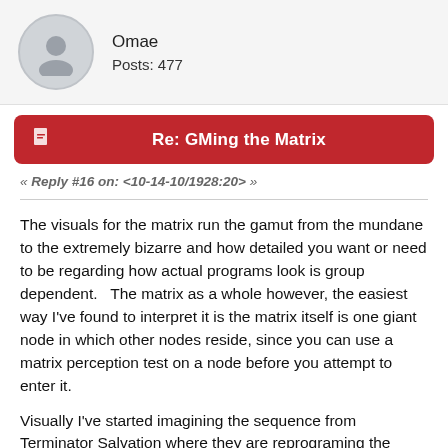Omae
Posts: 477
Re: GMing the Matrix
« Reply #16 on: <10-14-10/1928:20> »
The visuals for the matrix run the gamut from the mundane to the extremely bizarre and how detailed you want or need to be regarding how actual programs look is group dependent.   The matrix as a whole however, the easiest way I've found to interpret it is the matrix itself is one giant node in which other nodes reside, since you can use a matrix perception test on a node before you attempt to enter it.
Visually I've started imagining the sequence from Terminator Salvation where they are reprograming the infiltrator and he is accessing their mainframe, it shows what you could call nodes and visual links between